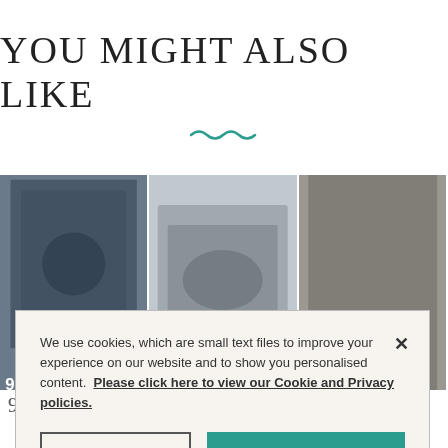YOU MIGHT ALSO LIKE
[Figure (photo): Three product image thumbnails displayed in a horizontal strip below the title]
We use cookies, which are small text files to improve your experience on our website and to show you personalised content. Please click here to view our Cookie and Privacy policies.
Cookies Settings
Accept All Cookies
£12.25
EXCL. TAX: £12.25
£31.95
EXCL. TAX: £31